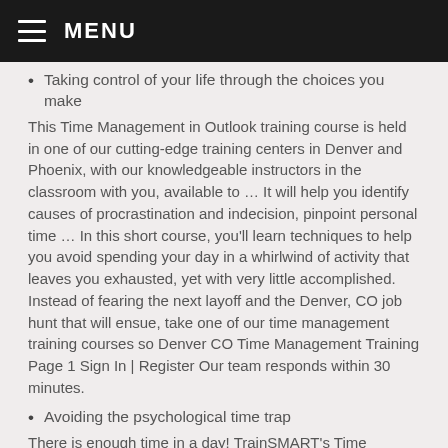MENU
Taking control of your life through the choices you make
This Time Management in Outlook training course is held in one of our cutting-edge training centers in Denver and Phoenix, with our knowledgeable instructors in the classroom with you, available to … It will help you identify causes of procrastination and indecision, pinpoint personal time … In this short course, you'll learn techniques to help you avoid spending your day in a whirlwind of activity that leaves you exhausted, yet with very little accomplished. Instead of fearing the next layoff and the Denver, CO job hunt that will ensue, take one of our time management training courses so Denver CO Time Management Training Page 1 Sign In | Register Our team responds within 30 minutes.
Avoiding the psychological time trap
There is enough time in a day! TrainSMART's Time Management Workshop … Can't find what you're looking for? Affordable Cost Per Participant By signing up for a free TrainUp.com account you will be asked to provide basic information about yourself and company, If you wish to purchase any product or service made available through the Service, you may be asked to supply certain additional information relevant to your purchase. Devote a